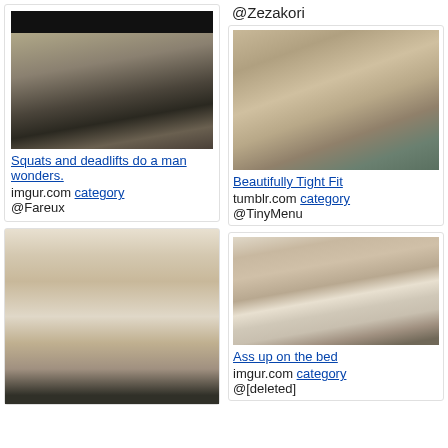[Figure (photo): Mirror selfie photo showing lower body in jeans, face blacked out]
Squats and deadlifts do a man wonders.
imgur.com category @Fareux
[Figure (photo): Photo of person from behind on couch, partial lower body visible]
@Zezakori
[Figure (photo): Photo showing bare buttocks from behind]
Beautifully Tight Fit
tumblr.com category @TinyMenu
[Figure (photo): Photo of person lying face down on bed in bedroom]
Ass up on the bed
imgur.com category @[deleted]